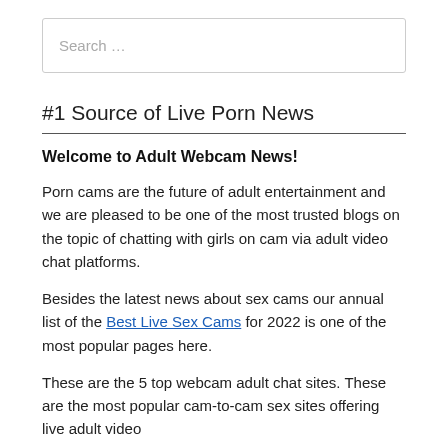[Figure (other): Search input field with placeholder text 'Search …']
#1 Source of Live Porn News
Welcome to Adult Webcam News!
Porn cams are the future of adult entertainment and we are pleased to be one of the most trusted blogs on the topic of chatting with girls on cam via adult video chat platforms.
Besides the latest news about sex cams our annual list of the Best Live Sex Cams for 2022 is one of the most popular pages here.
These are the 5 top webcam adult chat sites. These are the most popular cam-to-cam sex sites offering live adult video